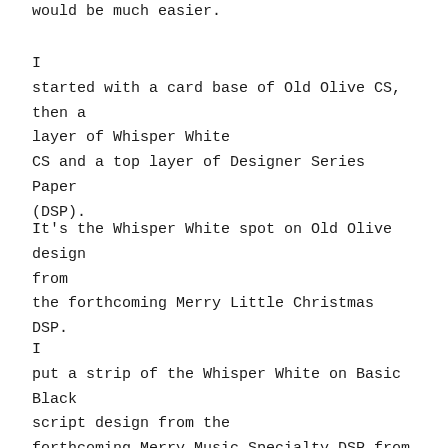would be much easier.
I started with a card base of Old Olive CS, then a layer of Whisper White CS and a top layer of Designer Series Paper (DSP).
It's the Whisper White spot on Old Olive design from the forthcoming Merry Little Christmas DSP.
I put a strip of the Whisper White on Basic Black script design from the forthcoming Merry Music Specialty DSP from the top of the card to the